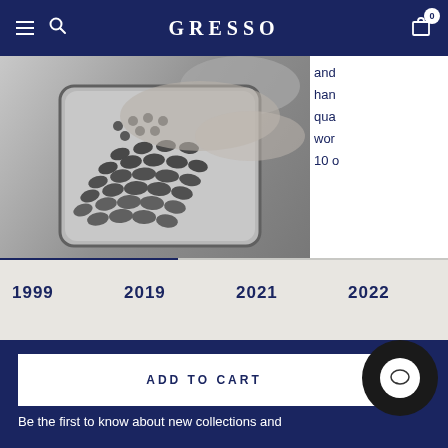GRESSO
[Figure (photo): Close-up black and white photo of a hand holding a luxury mobile phone with oval metallic keys/buttons arranged in rows]
and han qua wor 10 o
1999  2019  2021  2022
ADD TO CART
Be the first to know about new collections and